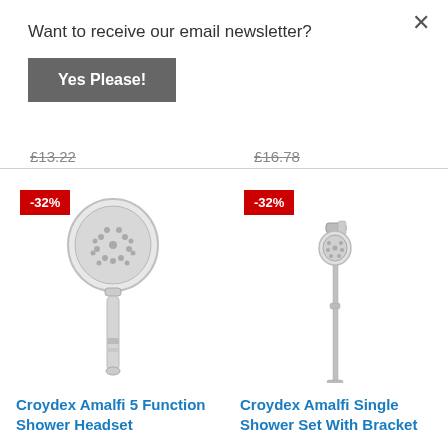Want to receive our email newsletter?
Yes Please!
£13.22
£16.78
-32%
[Figure (photo): Croydex Amalfi 5 Function Shower Headset - chrome round shower head with handle]
-32%
[Figure (photo): Croydex Amalfi Single Shower Set With Bracket - chrome shower head on a long pole with bracket]
Croydex Amalfi 5 Function Shower Headset
Croydex Amalfi Single Shower Set With Bracket